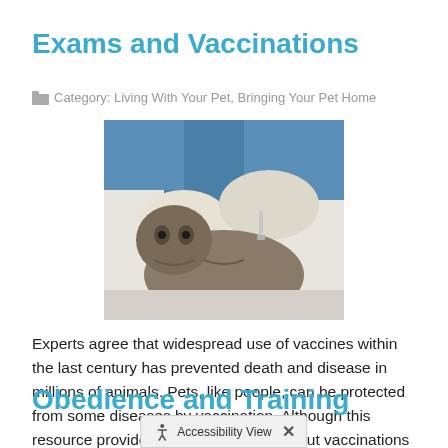Exams and Vaccinations
Category: Living With Your Pet, Bringing Your Pet Home
[Figure (photo): A cat being vaccinated or examined by a veterinarian wearing blue scrubs and white gloves]
Experts agree that widespread use of vaccines within the last century has prevented death and disease in millions of animals. Pets, like people, can be protected from some diseases by vaccination. Although this resource provides basic information about vaccinations for your dog or cat, your veterinarian
Read more
Obedience and Training